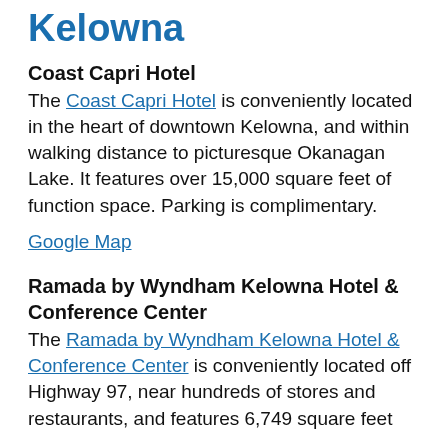Kelowna
Coast Capri Hotel
The Coast Capri Hotel is conveniently located in the heart of downtown Kelowna, and within walking distance to picturesque Okanagan Lake. It features over 15,000 square feet of function space. Parking is complimentary.
Google Map
Ramada by Wyndham Kelowna Hotel & Conference Center
The Ramada by Wyndham Kelowna Hotel & Conference Center is conveniently located off Highway 97, near hundreds of stores and restaurants, and features 6,749 square feet